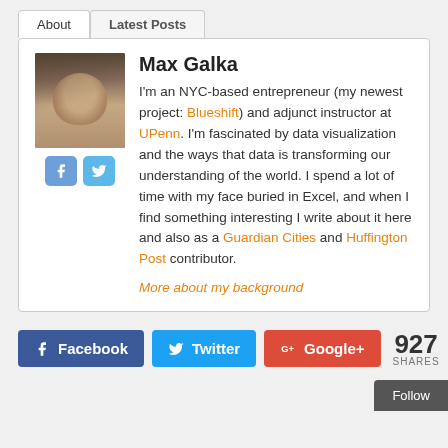About | Latest Posts (tabs)
Max Galka
I'm an NYC-based entrepreneur (my newest project: Blueshift) and adjunct instructor at UPenn. I'm fascinated by data visualization and the ways that data is transforming our understanding of the world. I spend a lot of time with my face buried in Excel, and when I find something interesting I write about it here and also as a Guardian Cities and Huffington Post contributor.
More about my background
Facebook | Twitter | Google+ | 927 SHARES